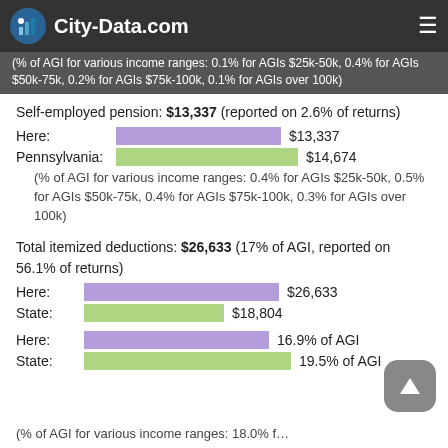City-Data.com
(% of AGI for various income ranges: 0.1% for AGIs $25k-50k, 0.4% for AGIs $50k-75k, 0.2% for AGIs $75k-100k, 0.1% for AGIs over 100k)
Self-employed pension: $13,337 (reported on 2.6% of returns)
[Figure (bar-chart): Self-employed pension comparison]
(% of AGI for various income ranges: 0.4% for AGIs $25k-50k, 0.5% for AGIs $50k-75k, 0.4% for AGIs $75k-100k, 0.3% for AGIs over 100k)
Total itemized deductions: $26,633 (17% of AGI, reported on 56.1% of returns)
[Figure (bar-chart): Total itemized deductions comparison]
[Figure (bar-chart): AGI percentage comparison]
(% of AGI for various income ranges: 18.0% f...